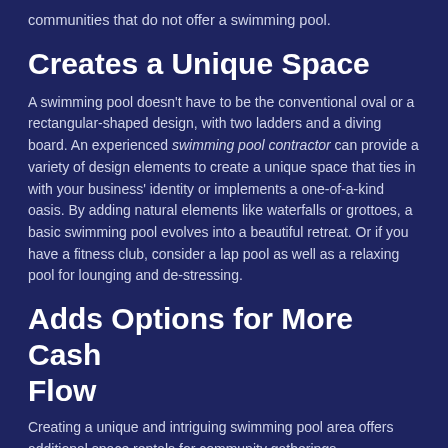communities that do not offer a swimming pool.
Creates a Unique Space
A swimming pool doesn't have to be the conventional oval or a rectangular-shaped design, with two ladders and a diving board. An experienced swimming pool contractor can provide a variety of design elements to create a unique space that ties in with your business' identity or implements a one-of-a-kind oasis. By adding natural elements like waterfalls or grottoes, a basic swimming pool evolves into a beautiful retreat. Or if you have a fitness club, consider a lap pool as well as a relaxing pool for lounging and de-stressing.
Adds Options for More Cash Flow
Creating a unique and intriguing swimming pool area offers additional space rentals for community gatherings